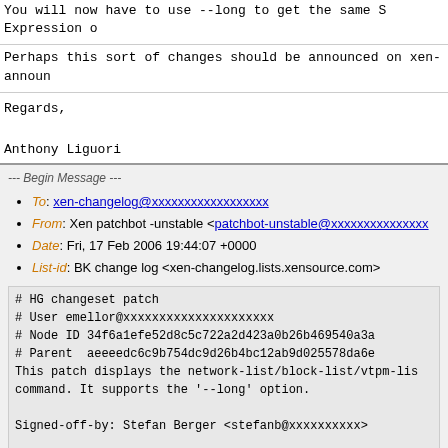You will now have to use --long to get the same S Expression o
Perhaps this sort of changes should be announced on xen-announ
Regards,

Anthony Liguori
--- Begin Message ---
To: xen-changelog@xxxxxxxxxxxxxxxxxx
From: Xen patchbot -unstable <patchbot-unstable@xxxxxxxxxxxxxxx
Date: Fri, 17 Feb 2006 19:44:07 +0000
List-id: BK change log <xen-changelog.lists.xensource.com>
# HG changeset patch
# User emellor@xxxxxxxxxxxxxxxxxxxxx
# Node ID 34f6a1efe52d8c5c722a2d423a0b26b469540a3a
# Parent  aeeeedc6c9b754dc9d26b4bc12ab9d025578da6e
This patch displays the network-list/block-list/vtpm-lis
command. It supports the '--long' option.

Signed-off-by: Stefan Berger <stefanb@xxxxxxxxxx>

diff -r aeeeedc6c9b7 -r 34f6a1efe52d tools/python/xm.
--- a/tools/python/xen/xm/main.py       Fri Feb 17 17:22